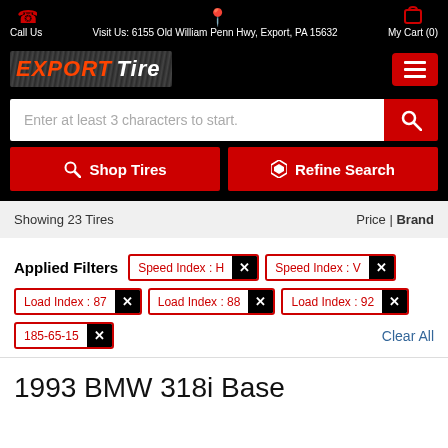Call Us | Visit Us: 6155 Old William Penn Hwy, Export, PA 15632 | My Cart (0)
[Figure (logo): Export Tire logo with red and white text on black background with chevron pattern]
Enter at least 3 characters to start.
Shop Tires | Refine Search
Showing 23 Tires | Price | Brand
Applied Filters: Speed Index : H, Speed Index : V, Load Index : 87, Load Index : 88, Load Index : 92, 185-65-15 | Clear All
1993 BMW 318i Base